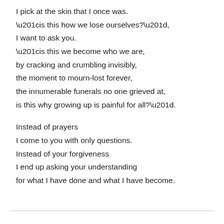I pick at the skin that I once was.
“is this how we lose ourselves?”,
I want to ask you.
“is this we become who we are,
by cracking and crumbling invisibly,
the moment to mourn-lost forever,
the innumerable funerals no one grieved at,
is this why growing up is painful for all?”.

Instead of prayers
I come to you with only questions.
Instead of your forgiveness
I end up asking your understanding
for what I have done and what I have become.